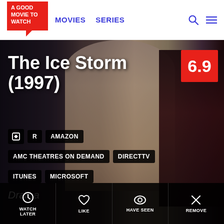[Figure (logo): A Good Movie To Watch logo — red banner shape with white bold text]
MOVIES   SERIES
[Figure (photo): Movie still from The Ice Storm (1997) showing three people in winter clothing]
The Ice Storm (1997)
6.9
R   AMAZON
AMC THEATRES ON DEMAND   DIRECTTV
ITUNES   MICROSOFT
Drama
WATCH LATER   LIKE   HAVE SEEN   REMOVE